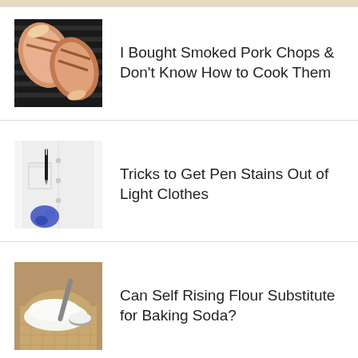[Figure (photo): Partial top of page, cropped image of grilled pork chops (barely visible at top edge)]
I Bought Smoked Pork Chops & Don't Know How to Cook Them
[Figure (photo): White shirt with pen stain in pocket area, blue ink stain visible at bottom]
Tricks to Get Pen Stains Out of Light Clothes
[Figure (photo): Burlap sack with white flour or baking powder, with a scoop]
Can Self Rising Flour Substitute for Baking Soda?